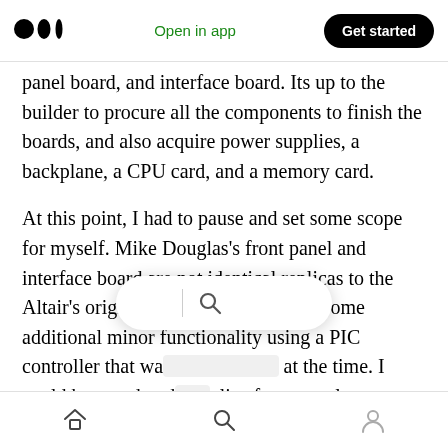Open in app | Get started
panel board, and interface board. Its up to the builder to procure all the components to finish the boards, and also acquire power supplies, a backplane, a CPU card, and a memory card.
At this point, I had to pause and set some scope for myself. Mike Douglas’s front panel and interface board are not identical replicas to the Altair’s original board; it implements some additional minor functionality using a PIC controller that wa  at the time. I could have ordered  plica front panel
Home | Search | Profile